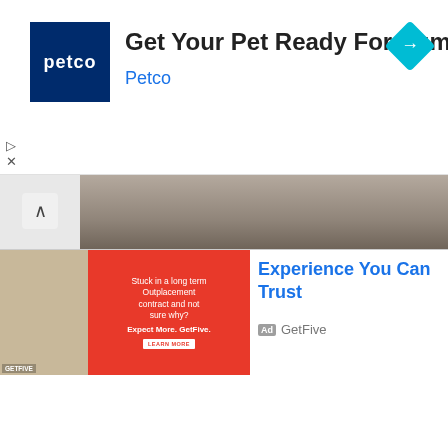[Figure (screenshot): Petco advertisement banner: dark blue Petco logo square on left, text 'Get Your Pet Ready For Summer' in black bold, 'Petco' in blue below, cyan diamond arrow icon on right. Small play and X icons on left edge.]
[Figure (screenshot): Partially visible image showing person at desk, with a caret/up arrow icon on left.]
[Figure (screenshot): GetFive advertisement: left half shows photo of children playing, right half is red with white handwritten text 'Stuck in a long term Outplacement contract and not sure why?' and 'Expect More. GetFive.' with a LEARN MORE button. GetFive logo bottom left.]
Experience You Can Trust
Ad  GetFive